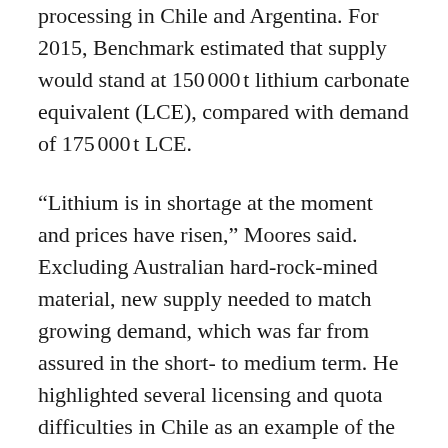processing in Chile and Argentina. For 2015, Benchmark estimated that supply would stand at 150 000 t lithium carbonate equivalent (LCE), compared with demand of 175 000 t LCE.
“Lithium is in shortage at the moment and prices have risen,” Moores said. Excluding Australian hard-rock-mined material, new supply needed to match growing demand, which was far from assured in the short- to medium term. He highlighted several licensing and quota difficulties in Chile as an example of the difficulties to shore-up supplies.